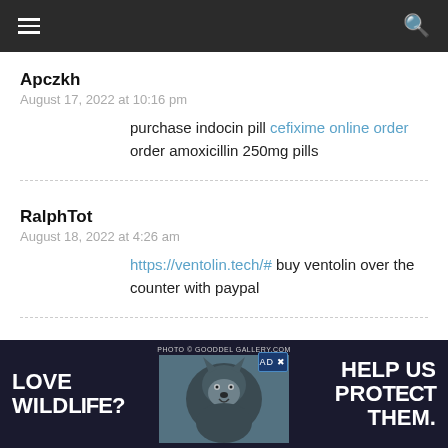Navigation bar with hamburger menu and search icon
Apczkh
August 17, 2022 at 10:16 pm
purchase indocin pill cefixime online order order amoxicillin 250mg pills
RalphTot
August 18, 2022 at 4:26 am
https://ventolin.tech/# buy ventolin over the counter with paypal
Deshawnmuh
19, 2022 at 10:28 am
can i buy diflucan over the counter diflucan tablets
[Figure (photo): Advertisement banner: LOVE WILDLIFE? HELP US PROTECT THEM. with a wolf photo in the center. Photo credit: GOODDEL GALLERY.COM]